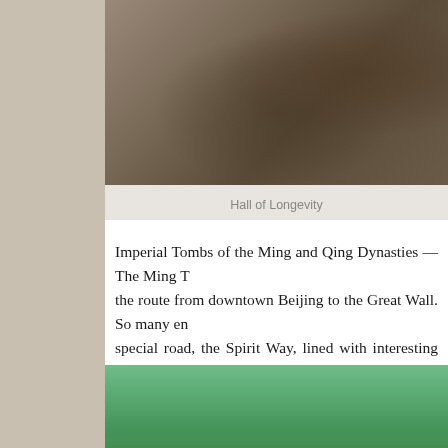[Figure (photo): Photo of Hall of Longevity, showing statues/sculptures with construction or architectural elements in the background]
Hall of Longevity
Imperial Tombs of the Ming and Qing Dynasties — The Ming T... the route from downtown Beijing to the Great Wall. So many en... special road, the Spirit Way, lined with interesting statues, was b... visitors to walk along as they came to pay homage to their ances...
[Figure (photo): Photo of the Spirit Way lined with weeping willow trees and stone animal statues (camels, other animals) along a wide pedestrian path]